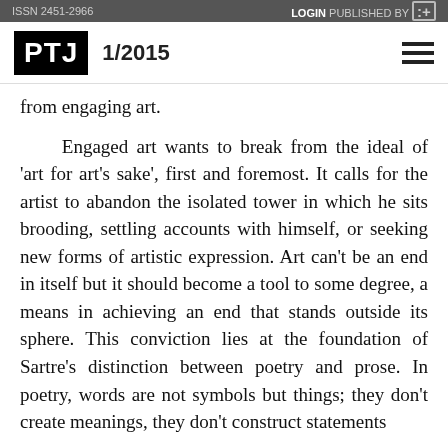ISSN 2451-2966   LOGIN   PUBLISHED BY   :+
PTJ   1/2015
from engaging art.
Engaged art wants to break from the ideal of 'art for art's sake', first and foremost. It calls for the artist to abandon the isolated tower in which he sits brooding, settling accounts with himself, or seeking new forms of artistic expression. Art can't be an end in itself but it should become a tool to some degree, a means in achieving an end that stands outside its sphere. This conviction lies at the foundation of Sartre's distinction between poetry and prose. In poetry, words are not symbols but things; they don't create meanings, they don't construct statements